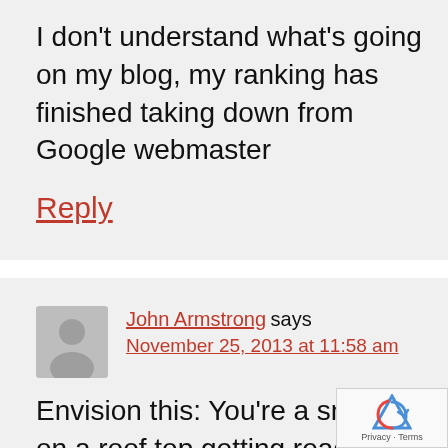I don't understand what's going on my blog, my ranking has finished taking down from Google webmaster
Reply
John Armstrong says
November 25, 2013 at 11:58 am
Envision this: You're a sniper on a roof top getting ready to make a ki shot. Your spotter is telling you